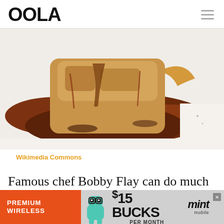OOLA
[Figure (photo): Close-up photo of a piece of bread or toast covered in dark brown barbecue sauce on a white plate]
Wikimedia Commons
Famous chef Bobby Flay can do much more than the grilling he is known for. Our next treat shows his sweeter side, with a
[Figure (infographic): Advertisement banner for Mint Mobile: Premium Wireless $15 BUCKS PER MONTH]